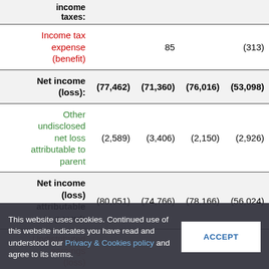|  | Col1 | Col2 | Col3 | Col4 |
| --- | --- | --- | --- | --- |
| income taxes: |  |  |  |  |
| Income tax expense (benefit) |  | 85 |  | (313) |
| Net income (loss): | (77,462) | (71,360) | (76,016) | (53,098) |
| Other undisclosed net loss attributable to parent | (2,589) | (3,406) | (2,150) | (2,926) |
| Net income (loss) attributable to parent: | (80,051) | (74,766) | (78,166) | (56,024) |
| Undistributed earnings (loss) allocated to participating... |  |  |  |  |